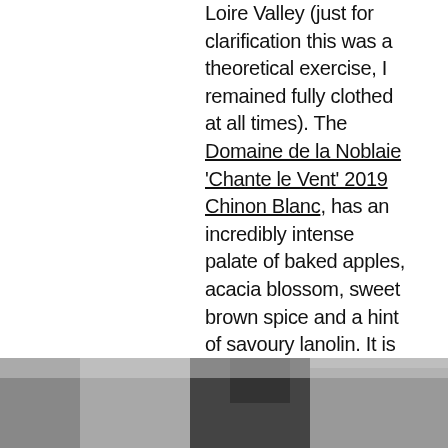Loire Valley (just for clarification this was a theoretical exercise, I remained fully clothed at all times). The Domaine de la Noblaie 'Chante le Vent' 2019 Chinon Blanc, has an incredibly intense palate of baked apples, acacia blossom, sweet brown spice and a hint of savoury lanolin. It is textured and concentrated yet the pure, vibrant acidity really drives through the long finish making it mouth-watering and utterly moreish. This really is a delicious and exciting example of dry Chenin Blanc, and incredible value for money, I will definitely be buying more. The Wine Society £12.95
[Figure (photo): A partial photograph at the bottom of the page showing wine bottles or glasses in black and white/grayscale.]